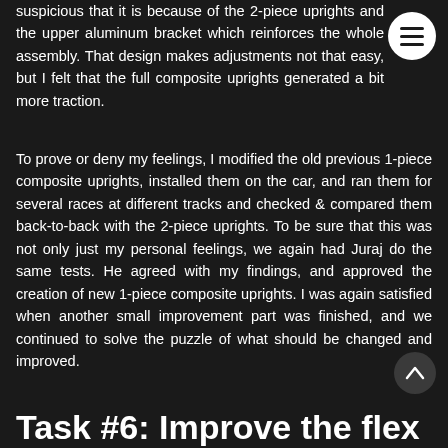suspicious that it is because of the 2-piece uprights and the upper aluminum bracket which reinforces the whole assembly. That design makes adjustments not that easy, but I felt that the full composite uprights generated a bit more traction.
To prove or deny my feelings, I modified the old previous 1-piece composite uprights, installed them on the car, and ran them for several races at different tracks and checked & compared them back-to-back with the 2-piece uprights. To be sure that this was not only just my personal feelings, we again had Juraj do the same tests. He agreed with my findings, and approved the creation of new 1-piece composite uprights. I was again satisfied when another small improvement part was finished, and we continued to solve the puzzle of what should be changed and improved.
Task #6: Improve the flex